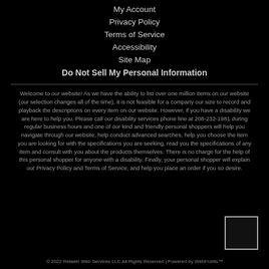My Account
Privacy Policy
Terms of Service
Accessibility
Site Map
Do Not Sell My Personal Information
Welcome to our website! As we have the ability to list over one million items on our website (our selection changes all of the time), it is not feasible for a company our size to record and playback the descriptions on every item on our website. However, if you have a disability we are here to help you. Please call our disability services phone line at 208-232-1981 during regular business hours and one of our kind and friendly personal shoppers will help you navigate through our website, help conduct advanced searches, help you choose the item you are looking for with the specifications you are seeking, read you the specifications of any item and consult with you about the products themselves. There is no charge for the help of this personal shopper for anyone with a disability. Finally, your personal shopper will explain our Privacy Policy and Terms of Service, and help you place an order if you so desire.
© 2022 Retailer Web Services LLC All Rights Reserved | Powered by WebFronts™